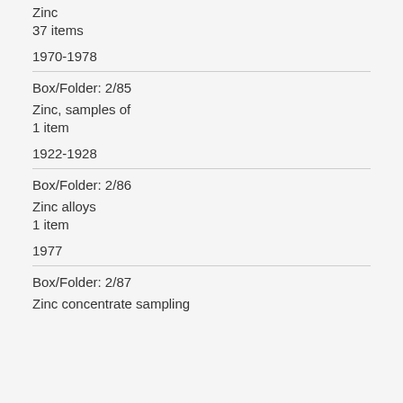Zinc
37 items
1970-1978
Box/Folder: 2/85
Zinc, samples of
1 item
1922-1928
Box/Folder: 2/86
Zinc alloys
1 item
1977
Box/Folder: 2/87
Zinc concentrate sampling